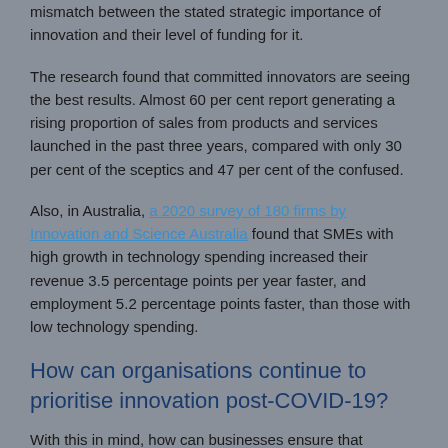mismatch between the stated strategic importance of innovation and their level of funding for it.
The research found that committed innovators are seeing the best results. Almost 60 per cent report generating a rising proportion of sales from products and services launched in the past three years, compared with only 30 per cent of the sceptics and 47 per cent of the confused.
Also, in Australia, a 2020 survey of 180 firms by Innovation and Science Australia found that SMEs with high growth in technology spending increased their revenue 3.5 percentage points per year faster, and employment 5.2 percentage points faster, than those with low technology spending.
How can organisations continue to prioritise innovation post-COVID-19?
With this in mind, how can businesses ensure that